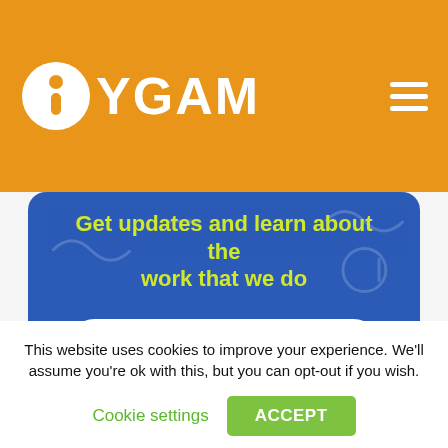[Figure (logo): YGAM logo with orange background, white circular icon with exclamation mark, white YGAM text, hamburger menu icon top right]
Get updates and learn about the work that we do
[Figure (screenshot): Email newsletter signup form on blue background with 'Enter Your Email' input field and orange 'Send →' button]
This website uses cookies to improve your experience. We'll assume you're ok with this, but you can opt-out if you wish.
Cookie settings
ACCEPT